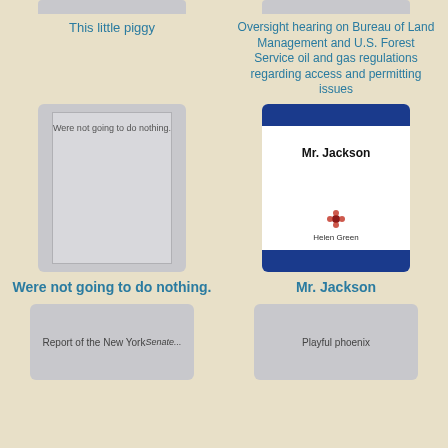[Figure (illustration): Book cover thumbnail - top left, partially visible]
This little piggy
[Figure (illustration): Book cover thumbnail - top right, partially visible]
Oversight hearing on Bureau of Land Management and U.S. Forest Service oil and gas regulations regarding access and permitting issues
[Figure (illustration): Book cover - gray cover with text 'Were not going to do nothing.']
Were not going to do nothing.
[Figure (illustration): Book cover - blue and white cover titled 'Mr. Jackson' by Helen Green]
Mr. Jackson
[Figure (illustration): Book cover thumbnail - bottom left, partially visible, text 'Report of the New York']
[Figure (illustration): Book cover thumbnail - bottom right, partially visible, text 'Playful phoenix']